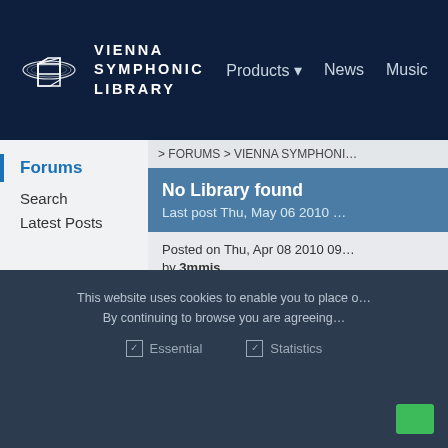[Figure (logo): Vienna Symphonic Library logo with Saturn-like planet and cube icon, white on dark navy background]
VIENNA SYMPHONIC LIBRARY | Products ▼ | News | Music
Forums
Search
Latest Posts
> FORUMS > VIENNA SYMPHONIC
No Library found
Last post Thu, May 06 2010
Posted on Thu, Apr 08 2010 09:
by 3mmis
Joined on Tue, Apr 08 2008, Po
Hi everybody,
This website uses cookies to enable you to place o
By continuing to browse you are agreeing
✓ Essential     ✓ Statistics